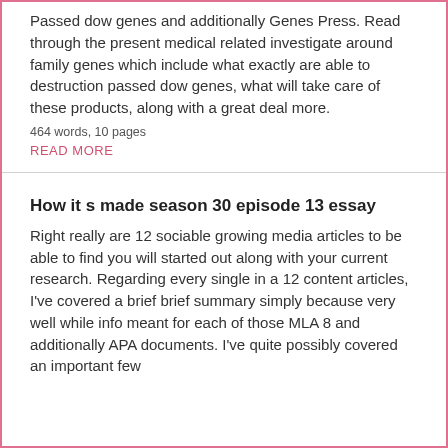Passed dow genes and additionally Genes Press. Read through the present medical related investigate around family genes which include what exactly are able to destruction passed dow genes, what will take care of these products, along with a great deal more.
464 words, 10 pages
READ MORE
How it s made season 30 episode 13 essay
Right really are 12 sociable growing media articles to be able to find you will started out along with your current research. Regarding every single in a 12 content articles, I've covered a brief brief summary simply because very well while info meant for each of those MLA 8 and additionally APA documents. I've quite possibly covered an important few